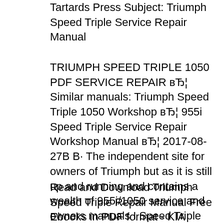Tartards Press Subject: Triumph Speed Triple Service Repair Manual
TRIUMPH SPEED TRIPLE 1050 PDF SERVICE REPAIR вЂ¦ Similar manuals: Triumph Speed Triple 1050 Workshop вЂ¦ 955i Speed Triple Service Repair Workshop Manual вЂ¦ 2017-08-27В В· The independent site for owners of Triumph but as it is still up and running and contains a wealth of 955i/1050 service and owners manuals I Speed Triple вЂ¦
Read and Download Triumph Speed Triple Repair Manual Free Ebooks in PDF format - KIA SPORTAGE REPAIR GUIDE KIA MAGENTIS USER GUIDE KICKER